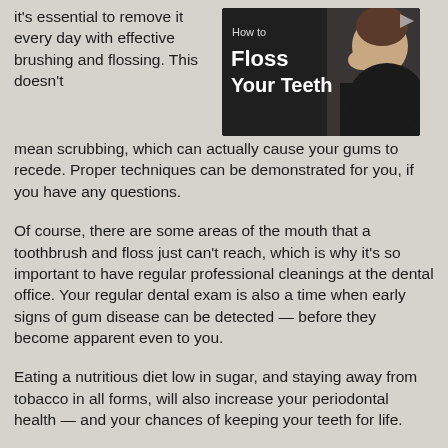it's essential to remove it every day with effective brushing and flossing. This doesn't mean scrubbing, which can actually cause your gums to recede. Proper techniques can be demonstrated for you, if you have any questions.
[Figure (screenshot): Video thumbnail showing a person flossing with text overlay reading 'How to Floss Your Teeth']
Of course, there are some areas of the mouth that a toothbrush and floss just can't reach, which is why it's so important to have regular professional cleanings at the dental office. Your regular dental exam is also a time when early signs of gum disease can be detected — before they become apparent even to you.
Eating a nutritious diet low in sugar, and staying away from tobacco in all forms, will also increase your periodontal health — and your chances of keeping your teeth for life.